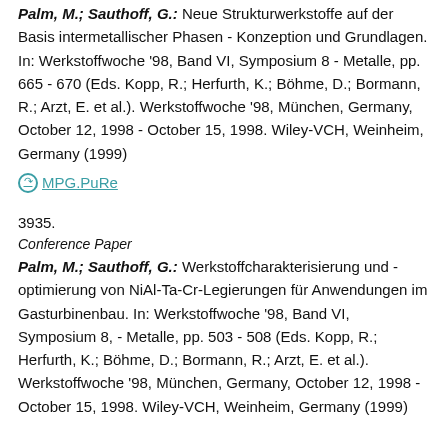Palm, M.; Sauthoff, G.: Neue Strukturwerkstoffe auf der Basis intermetallischer Phasen - Konzeption und Grundlagen. In: Werkstoffwoche '98, Band VI, Symposium 8 - Metalle, pp. 665 - 670 (Eds. Kopp, R.; Herfurth, K.; Böhme, D.; Bormann, R.; Arzt, E. et al.). Werkstoffwoche '98, München, Germany, October 12, 1998 - October 15, 1998. Wiley-VCH, Weinheim, Germany (1999)
MPG.PuRe
3935.
Conference Paper
Palm, M.; Sauthoff, G.: Werkstoffcharakterisierung und -optimierung von NiAl-Ta-Cr-Legierungen für Anwendungen im Gasturbinenbau. In: Werkstoffwoche '98, Band VI, Symposium 8, - Metalle, pp. 503 - 508 (Eds. Kopp, R.; Herfurth, K.; Böhme, D.; Bormann, R.; Arzt, E. et al.). Werkstoffwoche '98, München, Germany, October 12, 1998 - October 15, 1998. Wiley-VCH, Weinheim, Germany (1999)